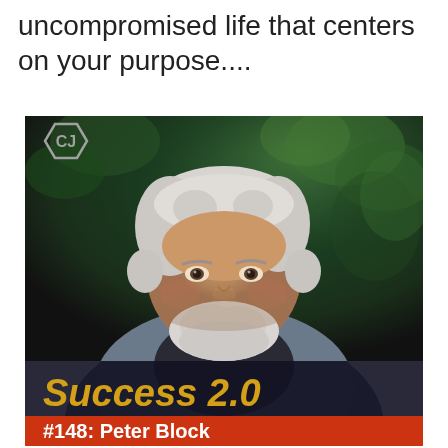uncompromised life that centers on your purpose....
[Figure (photo): Podcast cover image showing an older man with white hair and beard wearing a blue jacket, with a dark green leafy background. A hexagonal 'CJ' logo is in the top-left corner. Bottom has 'Success 2.0' in gold italic text on dark background, followed by a red bar with '#148: Peter Block']